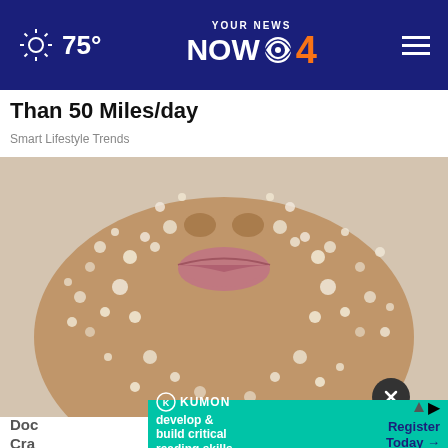75° YOUR NEWS NOW CBS 4
Than 50 Miles/day
Smart Lifestyle Trends
[Figure (photo): Close-up of a person's face covered in salt or sugar crystals on cheeks, nose, lips and neck against a light background]
Doc Cra
[Figure (infographic): Kumon advertisement: develop & build critical reading skills. Register Today arrow. Teal/green background.]